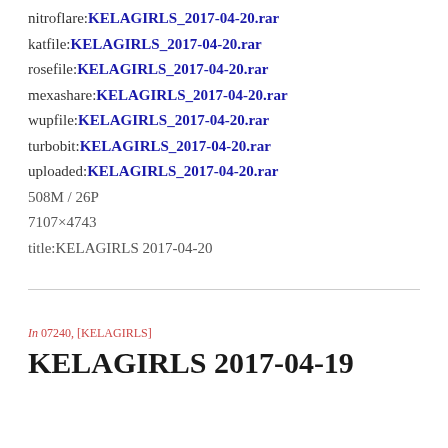nitroflare:KELAGIRLS_2017-04-20.rar
katfile:KELAGIRLS_2017-04-20.rar
rosefile:KELAGIRLS_2017-04-20.rar
mexashare:KELAGIRLS_2017-04-20.rar
wupfile:KELAGIRLS_2017-04-20.rar
turbobit:KELAGIRLS_2017-04-20.rar
uploaded:KELAGIRLS_2017-04-20.rar
508M / 26P
7107×4743
title:KELAGIRLS 2017-04-20
In 07240, [KELAGIRLS]
KELAGIRLS 2017-04-19